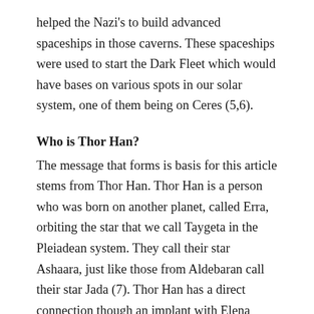helped the Nazi's to build advanced spaceships in those caverns. These spaceships were used to start the Dark Fleet which would have bases on various spots in our solar system, one of them being on Ceres (5,6).
Who is Thor Han?
The message that forms is basis for this article stems from Thor Han. Thor Han is a person who was born on another planet, called Erra, orbiting the star that we call Taygeta in the Pleiadean system. They call their star Ashaara, just like those from Aldebaran call their star Jada (7). Thor Han has a direct connection though an implant with Elena Danaan, a gifted French woman living in Ireland. She has written several books on her experiences with Thor Han and many other people from other worlds (8). It was through Elena that the message